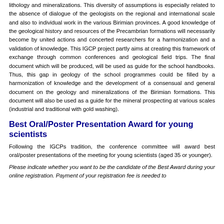lithology and mineralizations. This diversity of assumptions is especially related to the absence of dialogue of the geologists on the regional and international scale and also to individual work in the various Birimian provinces. A good knowledge of the geological history and resources of the Precambrian formations will necessarily become by united actions and concerted researchers for a harmonization and a validation of knowledge. This IGCP project partly aims at creating this framework of exchange through common conferences and geological field trips. The final document which will be produced, will be used as guide for the school handbooks. Thus, this gap in geology of the school programmes could be filled by a harmonization of knowledge and the development of a consensual and general document on the geology and mineralizations of the Birimian formations. This document will also be used as a guide for the mineral prospecting at various scales (industrial and traditional with gold washing).
Best Oral/Poster Presentation Award for young scientists
Following the IGCPs tradition, the conference committee will award best oral/poster presentations of the meeting for young scientists (aged 35 or younger).
Please indicate whether you want to be the candidate of the Best Award during your online registration. Payment of your registration fee is needed to